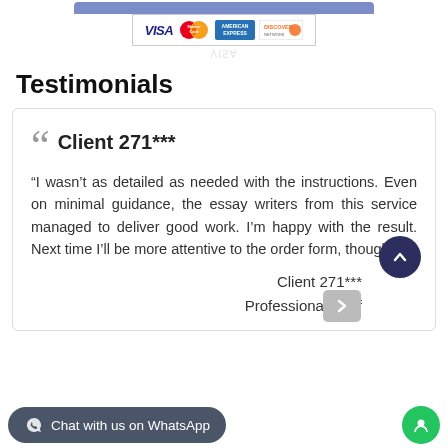[Figure (logo): Payment method logos: VISA, MasterCard, American Express, Discover on a banner]
Testimonials
“I wasn’t as detailed as needed with the instructions. Even on minimal guidance, the essay writers from this service managed to deliver good work. I’m happy with the result. Next time I’ll be more attentive to the order form, though.”
Client 271
Professional Staff
Chat with us on WhatsApp